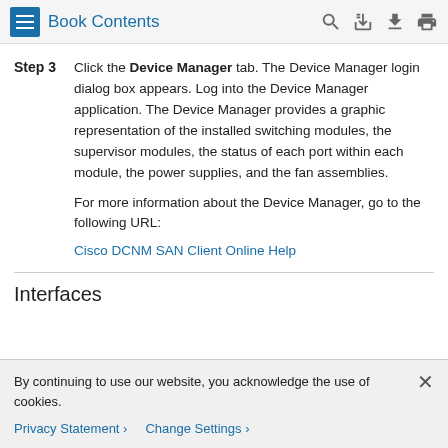Book Contents
Step 3  Click the Device Manager tab. The Device Manager login dialog box appears. Log into the Device Manager application. The Device Manager provides a graphic representation of the installed switching modules, the supervisor modules, the status of each port within each module, the power supplies, and the fan assemblies.

For more information about the Device Manager, go to the following URL:
Cisco DCNM SAN Client Online Help
Interfaces
By continuing to use our website, you acknowledge the use of cookies.
Privacy Statement > Change Settings >